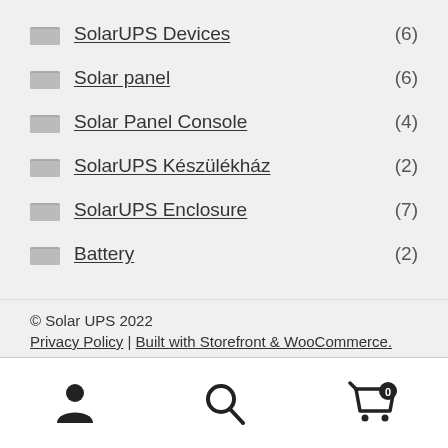SolarUPS Devices (6)
Solar panel (6)
Solar Panel Console (4)
SolarUPS Készülékház (2)
SolarUPS Enclosure (7)
Battery (2)
© Solar UPS 2022
Privacy Policy | Built with Storefront & WooCommerce.